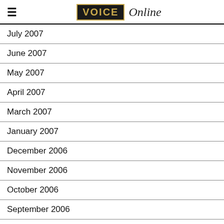VOICE Online
July 2007
June 2007
May 2007
April 2007
March 2007
January 2007
December 2006
November 2006
October 2006
September 2006
July 2006
June 2006